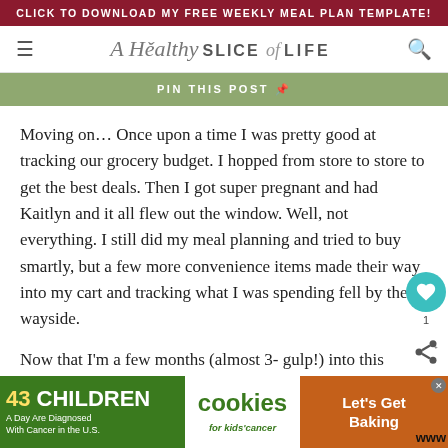CLICK TO DOWNLOAD MY FREE WEEKLY MEAL PLAN TEMPLATE!
[Figure (logo): A Healthy Slice of Life blog logo with hamburger menu and search icon]
PIN THIS POST
Moving on... Once upon a time I was pretty good at tracking our grocery budget. I hopped from store to store to get the best deals. Then I got super pregnant and had Kaitlyn and it all flew out the window. Well, not everything. I still did my meal planning and tried to buy smartly, but a few more convenience items made their way into my cart and tracking what I was spending fell by the wayside.
Now that I'm a few months (almost 3- gulp!) into this mo...
[Figure (infographic): Advertisement banner: 43 CHILDREN A Day Are Diagnosed With Cancer in the U.S. - cookies for kids cancer - Let's Get Baking]